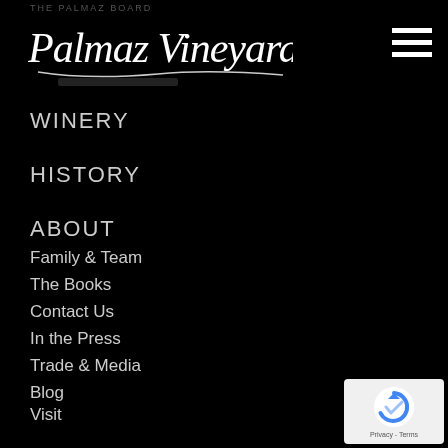THE PALMAZ BOARD
[Figure (logo): Palmaz Vineyards cursive script logo with decorative underline]
[Figure (other): Hamburger menu icon (three horizontal white lines)]
WINERY
HISTORY
ABOUT
Family & Team
The Books
Contact Us
In the Press
Trade & Media
Blog
Visit
Privacy
[Figure (other): Google reCAPTCHA badge with blue circular arrow icon and Privacy - Terms text]